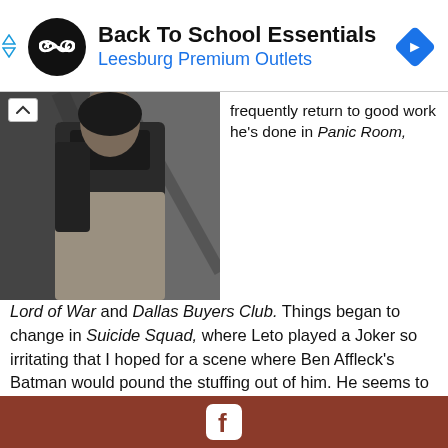[Figure (infographic): Advertisement banner: Back To School Essentials - Leesburg Premium Outlets, with circular logo and navigation diamond icon]
[Figure (photo): Person in grey coat photographed from below against architectural background]
frequently return to good work he's done in Panic Room, Lord of War and Dallas Buyers Club. Things began to change in Suicide Squad, where Leto played a Joker so irritating that I hoped for a scene where Ben Affleck's Batman would pound the stuffing out of him. He seems to be on a similar track as Johnny Depp, where a goofy costume and weird mannerisms will do in lieu of a performance. As the perpetually squirrelly Albert Sparma, Leto does decent work playing the kind of guy who likes to toy with police, and he creates an interesting question: is Sparma the killer or just a dude who enjoys playing head games? The problem is, Leto's performance doesn't mesh with Washington and Malek, which creates an off feeling
[Figure (logo): Facebook logo icon in white on brown/rust footer bar]